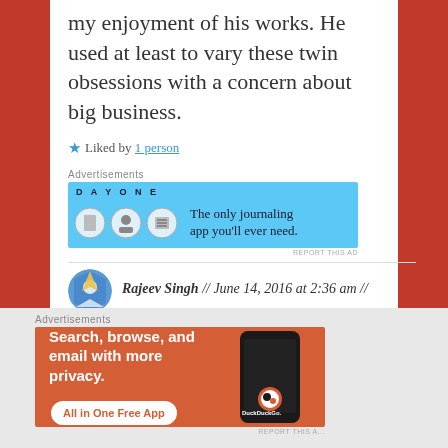my enjoyment of his works. He used at least to vary these twin obsessions with a concern about big business.
★ Liked by 1 person
[Figure (infographic): DayOne journaling app advertisement: blue background with circular icons and text 'The only journaling app you'll ever need.']
Rajeev Singh // June 14, 2016 at 2:36 am //
Reply
[Figure (infographic): DuckDuckGo advertisement: orange/red background with text 'Search, browse, and email with more privacy. All in One Free App' and phone image with DuckDuckGo logo]